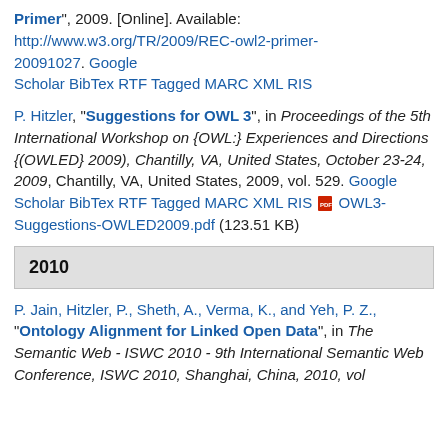Primer", 2009. [Online]. Available: http://www.w3.org/TR/2009/REC-owl2-primer-20091027. Google Scholar BibTex RTF Tagged MARC XML RIS
P. Hitzler, "Suggestions for OWL 3", in Proceedings of the 5th International Workshop on {OWL:} Experiences and Directions {(OWLED} 2009), Chantilly, VA, United States, October 23-24, 2009, Chantilly, VA, United States, 2009, vol. 529. Google Scholar BibTex RTF Tagged MARC XML RIS OWL3-Suggestions-OWLED2009.pdf (123.51 KB)
2010
P. Jain, Hitzler, P., Sheth, A., Verma, K., and Yeh, P. Z., "Ontology Alignment for Linked Open Data", in The Semantic Web - ISWC 2010 - 9th International Semantic Web Conference, ISWC 2010, Shanghai, China, 2010, vol.